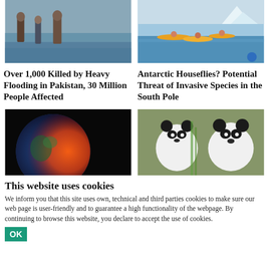[Figure (photo): People wading through floodwaters in Pakistan]
[Figure (photo): People kayaking near icebergs in Antarctic waters]
Over 1,000 Killed by Heavy Flooding in Pakistan, 30 Million People Affected
Antarctic Houseflies? Potential Threat of Invasive Species in the South Pole
[Figure (photo): Burning Earth globe illustration showing climate change]
[Figure (photo): Two giant pandas eating bamboo]
This website uses cookies
We inform you that this site uses own, technical and third parties cookies to make sure our web page is user-friendly and to guarantee a high functionality of the webpage. By continuing to browse this website, you declare to accept the use of cookies.
OK